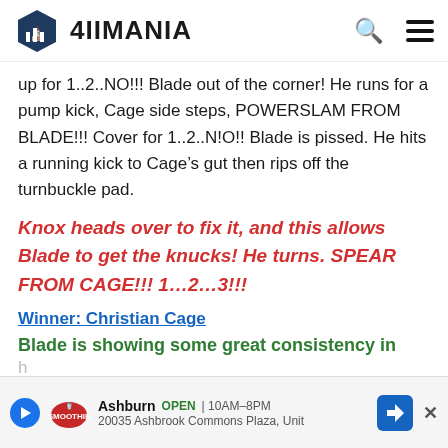4IIMANIA
up for 1..2..NO!!! Blade out of the corner! He runs for a pump kick, Cage side steps, POWERSLAM FROM BLADE!!! Cover for 1..2..N!O!! Blade is pissed. He hits a running kick to Cage’s gut then rips off the turnbuckle pad.
Knox heads over to fix it, and this allows Blade to get the knucks! He turns. SPEAR FROM CAGE!!! 1…2…3!!!
Winner: Christian Cage
Blade is showing some great consistency in
[Figure (infographic): Ad banner showing Ashburn location, OPEN 10AM-8PM, 20035 Ashbrook Commons Plaza, Unit]